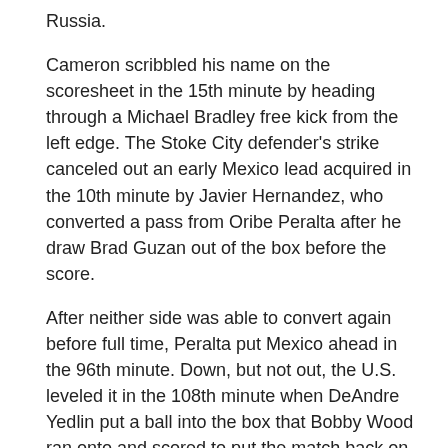Russia.
Cameron scribbled his name on the scoresheet in the 15th minute by heading through a Michael Bradley free kick from the left edge. The Stoke City defender's strike canceled out an early Mexico lead acquired in the 10th minute by Javier Hernandez, who converted a pass from Oribe Peralta after he draw Brad Guzan out of the box before the score.
After neither side was able to convert again before full time, Peralta put Mexico ahead in the 96th minute. Down, but not out, the U.S. leveled it in the 108th minute when DeAndre Yedlin put a ball into the box that Bobby Wood ran onto and scored to put the match back on level terms before Aguilar's winner.
Revolution midfielder Jermaine Jones briefly left the match near the hour mark after clashing heads with Aguilar. Jones quickly returned after he was attended to by a team doctor, and went on to play the full 120 minutes.
Mexico uncovered a handful opportunities to put the match away before full time. One of their best chances came in the 59th minute when Hernandez grabbed a ball in front of the box from Raul Jimenez, but was unable to finish.